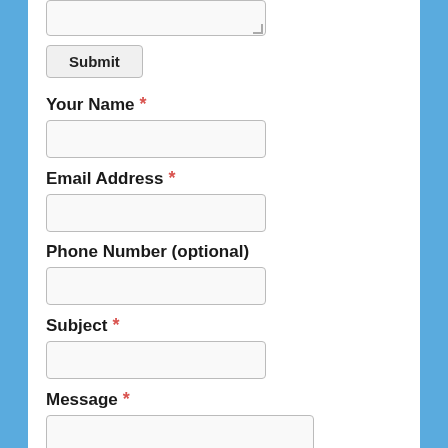[Figure (screenshot): Top partial textarea (cut off at top of page)]
Submit
Your Name *
[Figure (screenshot): Text input field for Your Name]
Email Address *
[Figure (screenshot): Text input field for Email Address]
Phone Number (optional)
[Figure (screenshot): Text input field for Phone Number]
Subject *
[Figure (screenshot): Text input field for Subject]
Message *
[Figure (screenshot): Textarea for Message]
Submit